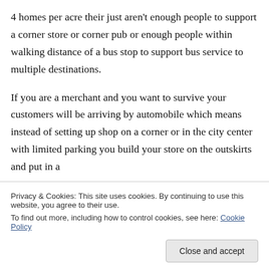4 homes per acre their just aren't enough people to support a corner store or corner pub or enough people within walking distance of a bus stop to support bus service to multiple destinations.
If you are a merchant and you want to survive your customers will be arriving by automobile which means instead of setting up shop on a corner or in the city center with limited parking you build your store on the outskirts and put in a
Privacy & Cookies: This site uses cookies. By continuing to use this website, you agree to their use.
To find out more, including how to control cookies, see here: Cookie Policy
that live in those 4 homes per acre communities